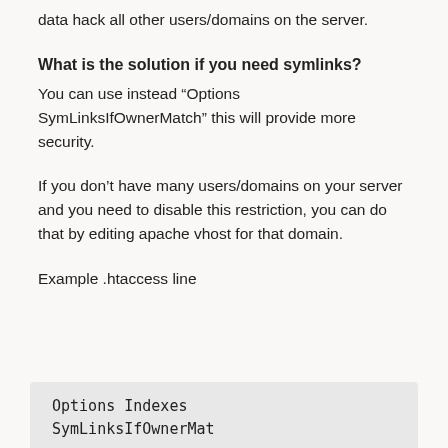data hack all other users/domains on the server.
What is the solution if you need symlinks?
You can use instead “Options SymLinksIfOwnerMatch” this will provide more security.
If you don’t have many users/domains on your server and you need to disable this restriction, you can do that by editing apache vhost for that domain.
Example .htaccess line
[Figure (screenshot): Code box showing: Options Indexes (and beginning of next line)]